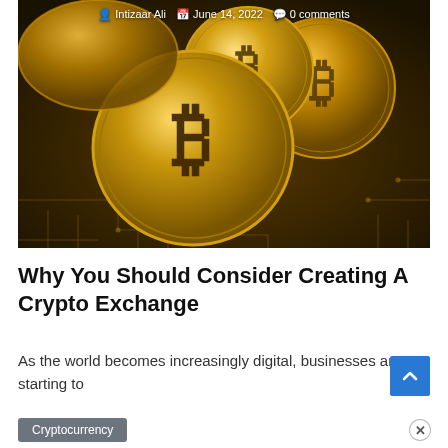[Figure (photo): Close-up photograph of multiple gold Bitcoin coins resting on a green circuit board with copper traces, showing the Bitcoin 'B' symbol on the coins' faces.]
Intizaar Ali   June 14, 2022   0 comments
Why You Should Consider Creating A Crypto Exchange
As the world becomes increasingly digital, businesses are starting to
Cryptocurrency